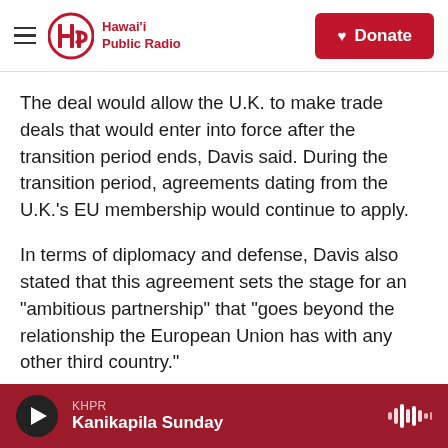Hawai'i Public Radio — Donate
The deal would allow the U.K. to make trade deals that would enter into force after the transition period ends, Davis said. During the transition period, agreements dating from the U.K.'s EU membership would continue to apply.
In terms of diplomacy and defense, Davis also stated that this agreement sets the stage for an "ambitious partnership" that "goes beyond the relationship the European Union has with any other third country."
And the fate of EU citizens in the U.K. has been
KHPR — Kanikapila Sunday